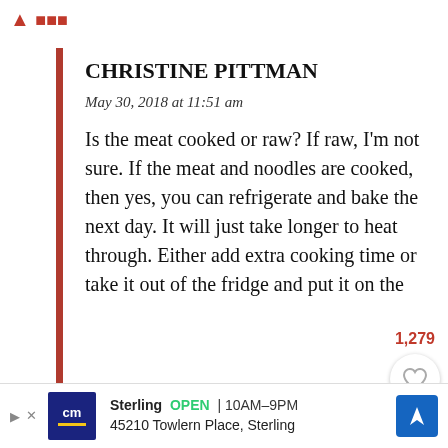CHRISTINE PITTMAN
May 30, 2018 at 11:51 am
Is the meat cooked or raw? If raw, I'm not sure. If the meat and noodles are cooked, then yes, you can refrigerate and bake the next day. It will just take longer to heat through. Either add extra cooking time or take it out of the fridge and put it on the
1,279
[Figure (screenshot): Advertisement banner: cm logo, Sterling OPEN 10AM-9PM, 45210 Towlern Place, Sterling, with a blue direction arrow icon]